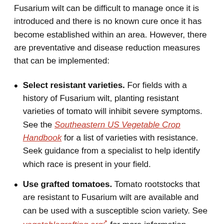Fusarium wilt can be difficult to manage once it is introduced and there is no known cure once it has become established within an area. However, there are preventative and disease reduction measures that can be implemented:
Select resistant varieties. For fields with a history of Fusarium wilt, planting resistant varieties of tomato will inhibit severe symptoms. See the Southeastern US Vegetable Crop Handbook for a list of varieties with resistance. Seek guidance from a specialist to help identify which race is present in your field.
Use grafted tomatoes. Tomato rootstocks that are resistant to Fusarium wilt are available and can be used with a susceptible scion variety. See vegetablegrafting.org for more information.